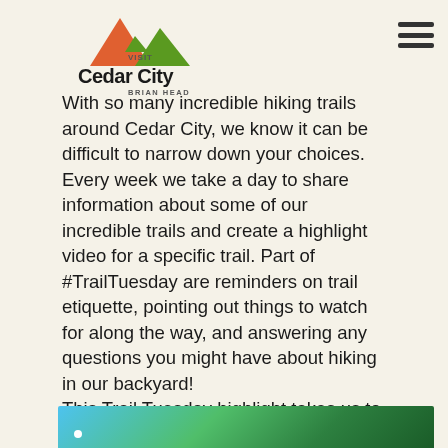[Figure (logo): Visit Cedar City Brian Head logo with mountain peaks in orange and green above the text]
With so many incredible hiking trails around Cedar City, we know it can be difficult to narrow down your choices. Every week we take a day to share information about some of our incredible trails and create a highlight video for a specific trail. Part of #TrailTuesday are reminders on trail etiquette, pointing out things to watch for along the way, and answering any questions you might have about hiking in our backyard!
This Trail Tuesday highlight takes us to cool high country temperatures, incredible views, and some very unique trees on the Bristlecone Pine Trail.
[Figure (photo): Bottom strip of a photo showing blue sky and green trees, partially visible]